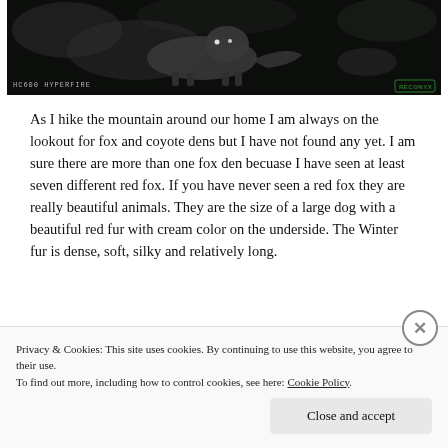[Figure (photo): Night vision trail camera photo showing a fox or similar animal in darkness. Camera model label 'HC600 HYPERFIRE' at bottom left, brand logo at bottom right.]
As I hike the mountain around our home I am always on the lookout for fox and coyote dens but I have not found any yet. I am sure there are more than one fox den becuase I have seen at least seven different red fox. If you have never seen a red fox they are really beautiful animals. They are the size of a large dog with a beautiful red fur with cream color on the underside. The Winter fur is dense, soft, silky and relatively long.
The red fox is not always the classic red color. There are many
Privacy & Cookies: This site uses cookies. By continuing to use this website, you agree to their use.
To find out more, including how to control cookies, see here: Cookie Policy
Close and accept